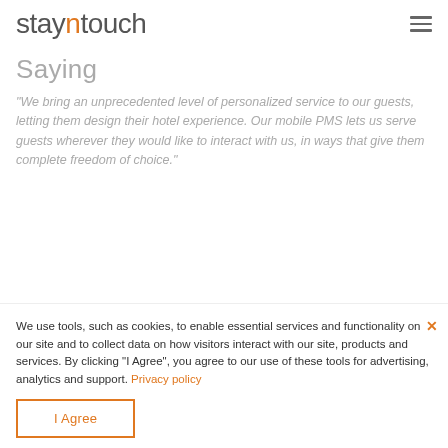stayntouch
Saying
"We bring an unprecedented level of personalized service to our guests, letting them design their hotel experience. Our mobile PMS lets us serve guests wherever they would like to interact with us, in ways that give them complete freedom of choice."
We use tools, such as cookies, to enable essential services and functionality on our site and to collect data on how visitors interact with our site, products and services. By clicking "I Agree", you agree to our use of these tools for advertising, analytics and support. Privacy policy
I Agree